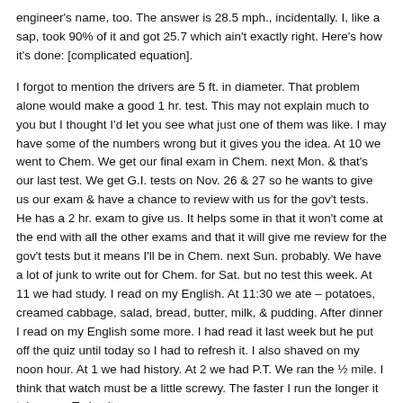engineer's name, too. The answer is 28.5 mph., incidentally. I, like a sap, took 90% of it and got 25.7 which ain't exactly right. Here's how it's done: [complicated equation].
I forgot to mention the drivers are 5 ft. in diameter. That problem alone would make a good 1 hr. test. This may not explain much to you but I thought I'd let you see what just one of them was like. I may have some of the numbers wrong but it gives you the idea. At 10 we went to Chem. We get our final exam in Chem. next Mon. & that's our last test. We get G.I. tests on Nov. 26 & 27 so he wants to give us our exam & have a chance to review with us for the gov't tests. He has a 2 hr. exam to give us. It helps some in that it won't come at the end with all the other exams and that it will give me review for the gov't tests but it means I'll be in Chem. next Sun. probably. We have a lot of junk to write out for Chem. for Sat. but no test this week. At 11 we had study. I read on my English. At 11:30 we ate – potatoes, creamed cabbage, salad, bread, butter, milk, & pudding. After dinner I read on my English some more. I had read it last week but he put off the quiz until today so I had to refresh it. I also shaved on my noon hour. At 1 we had history. At 2 we had P.T. We ran the ½ mile. I think that watch must be a little screwy. The faster I run the longer it takes me. Today it